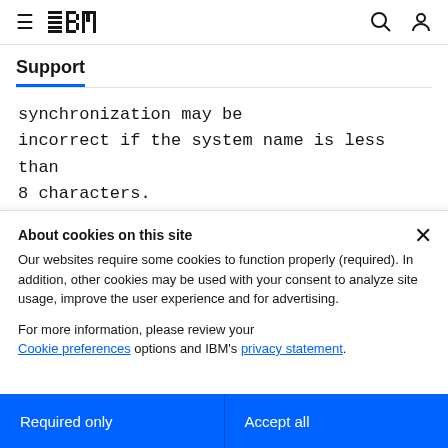IBM Support
synchronization may be incorrect if the system name is less than 8 characters.
About cookies on this site
Our websites require some cookies to function properly (required). In addition, other cookies may be used with your consent to analyze site usage, improve the user experience and for advertising.
For more information, please review your Cookie preferences options and IBM's privacy statement.
Required only
Accept all